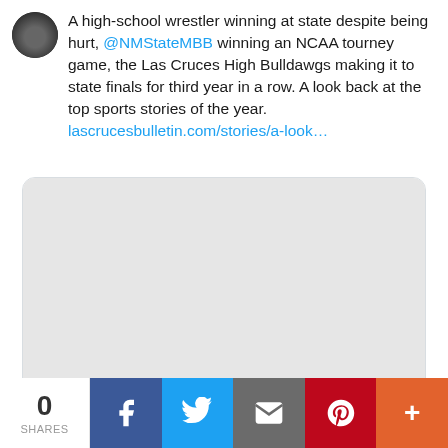A high-school wrestler winning at state despite being hurt, @NMStateMBB winning an NCAA tourney game, the Las Cruces High Bulldawgs making it to state finals for third year in a row. A look back at the top sports stories of the year. lascrucesbulletin.com/stories/a-look…
[Figure (screenshot): Link preview card showing image area and lascrucesbulletin.com domain with title 'A look back on top sports stories of the school year']
lascrucesbulletin.com
A look back on top sports stories of the school year
0 SHARES